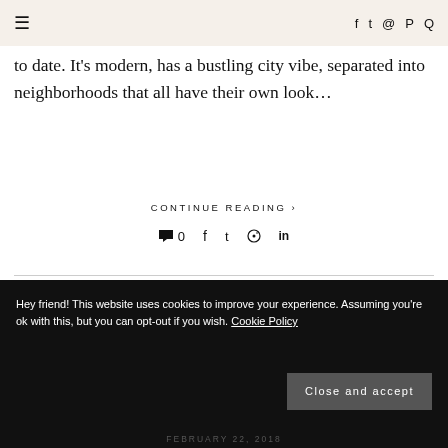≡  f  𝕏  ⊡  ⊕  🔍
to date. It's modern, has a bustling city vibe, separated into neighborhoods that all have their own look…
CONTINUE READING ›
💬 0  f  𝕏  ⊕  in
Hey friend! This website uses cookies to improve your experience. Assuming you're ok with this, but you can opt-out if you wish. Cookie Policy
Close and accept
FEBRUARY 22, 2018